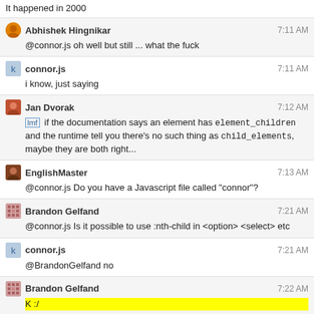It happened in 2000
Abhishek Hingnikar 7:11 AM
@connor.js oh well but still ... what the fuck
connor.js 7:11 AM
i know, just saying
Jan Dvorak 7:12 AM
[lmf] if the documentation says an element has element_children and the runtime tell you there's no such thing as child_elements, maybe they are both right...
EnglishMaster 7:13 AM
@connor.js Do you have a Javascript file called "connor"?
Brandon Gelfand 7:21 AM
@connor.js Is it possible to use :nth-child in <option> <select> etc
connor.js 7:21 AM
@BrandonGelfand no
Brandon Gelfand 7:22 AM
K :/
Shea 7:23 AM
!!tell BrandonGelfand google nth-child
Caprica Six 7:23 AM